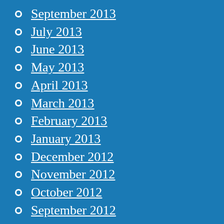September 2013
July 2013
June 2013
May 2013
April 2013
March 2013
February 2013
January 2013
December 2012
November 2012
October 2012
September 2012
August 2012
July 2012
June 2012
May 2012
April 2012